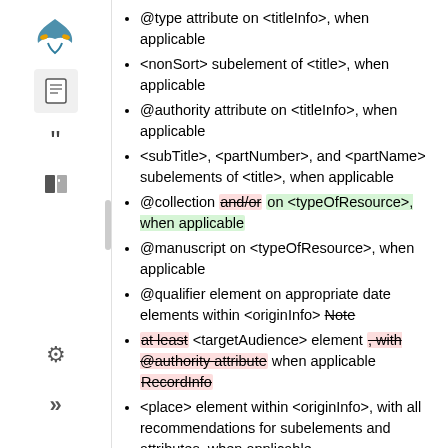@type attribute on <titleInfo>, when applicable
<nonSort> subelement of <title>, when applicable
@authority attribute on <titleInfo>, when applicable
<subTitle>, <partNumber>, and <partName> subelements of <title>, when applicable
@collection [strikethrough: and/or] on <typeOfResource>, when applicable
@manuscript on <typeOfResource>, when applicable
@qualifier element on appropriate date elements within <originInfo> [strikethrough: Note]
[strikethrough: at least] <targetAudience> element [strikethrough: , with @authority attribute] when applicable [strikethrough: RecordInfo]
<place> element within <originInfo>, with all recommendations for subelements and attributes, when applicable
<publisher> element within <originInfo>
<edition> subelement within <originInfo>, when applicable
<extent> subelement within <physicalDescription>, when applicable